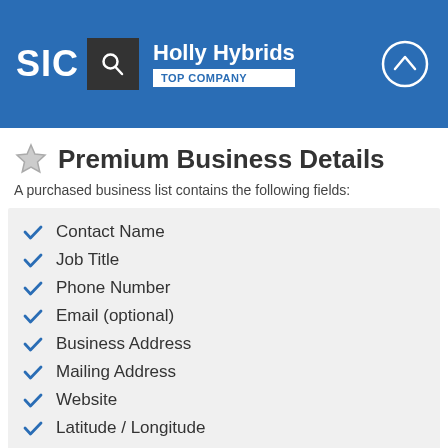SIC | Holly Hybrids | TOP COMPANY
Premium Business Details
A purchased business list contains the following fields:
Contact Name
Job Title
Phone Number
Email (optional)
Business Address
Mailing Address
Website
Latitude / Longitude
Modeled Credit Rating
Square Footage
Public / Private
Location Type*